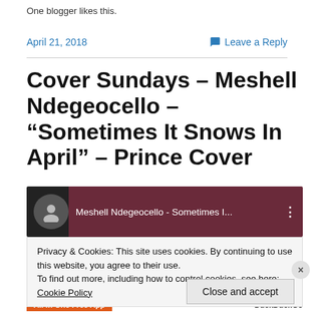One blogger likes this.
April 21, 2018
Leave a Reply
Cover Sundays – Meshell Ndegeocello – “Sometimes It Snows In April” – Prince Cover
[Figure (screenshot): YouTube video thumbnail showing Meshell Ndegeocello - Sometimes I with a dark/purple background and avatar]
Privacy & Cookies: This site uses cookies. By continuing to use this website, you agree to their use.
To find out more, including how to control cookies, see here: Cookie Policy
Close and accept